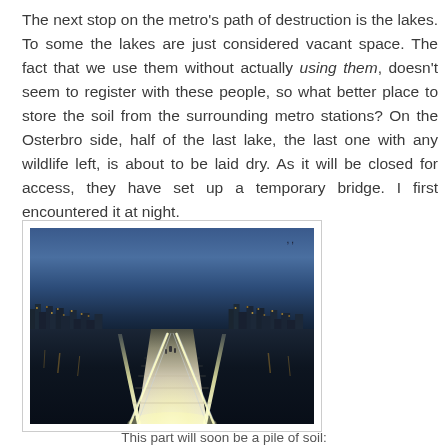The next stop on the metro's path of destruction is the lakes. To some the lakes are just considered vacant space. The fact that we use them without actually using them, doesn't seem to register with these people, so what better place to store the soil from the surrounding metro stations? On the Osterbro side, half of the last lake, the last one with any wildlife left, is about to be laid dry. As it will be closed for access, they have set up a temporary bridge. I first encountered it at night.
[Figure (photo): Nighttime photograph of a illuminated temporary pedestrian bridge over a lake. The bridge has LED lighting strips along its sides creating bright white-yellow light, with the city skyline visible in the background against a dark blue twilight sky. The bridge recedes into the distance in perspective.]
This part will soon be a pile of soil: